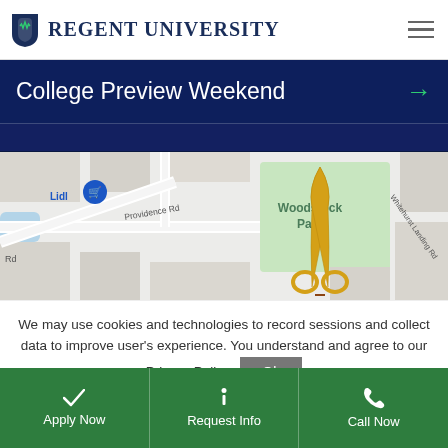[Figure (logo): Regent University logo with shield icon and text]
College Preview Weekend →
[Figure (map): Google Maps showing area near Woodstock Park with Providence Rd, Whitehurst Landing Rd, Lidl store, and golden scissors/ribbon icon marking a location]
We may use cookies and technologies to record sessions and collect data to improve user's experience. You understand and agree to our Privacy Policy.
Apply Now
Request Info
Call Now